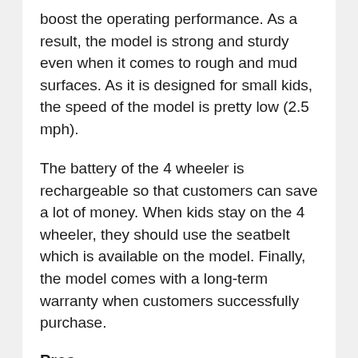boost the operating performance. As a result, the model is strong and sturdy even when it comes to rough and mud surfaces. As it is designed for small kids, the speed of the model is pretty low (2.5 mph).
The battery of the 4 wheeler is rechargeable so that customers can save a lot of money. When kids stay on the 4 wheeler, they should use the seatbelt which is available on the model. Finally, the model comes with a long-term warranty when customers successfully purchase.
Pros
Cool and attractive design